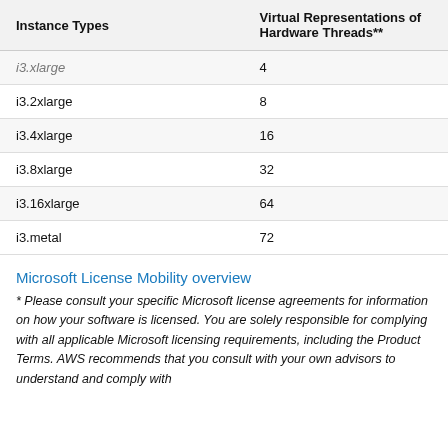| Instance Types | Virtual Representations of Hardware Threads** |
| --- | --- |
| i3.xlarge | 4 |
| i3.2xlarge | 8 |
| i3.4xlarge | 16 |
| i3.8xlarge | 32 |
| i3.16xlarge | 64 |
| i3.metal | 72 |
Microsoft License Mobility overview
* Please consult your specific Microsoft license agreements for information on how your software is licensed. You are solely responsible for complying with all applicable Microsoft licensing requirements, including the Product Terms. AWS recommends that you consult with your own advisors to understand and comply with